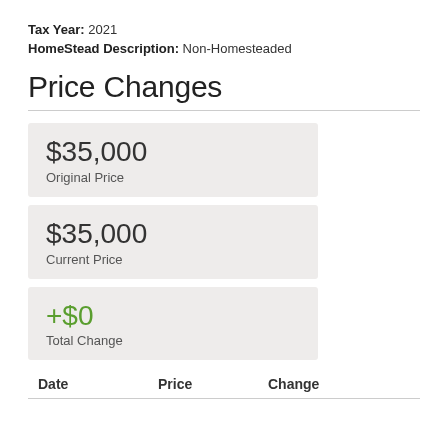Tax Year: 2021
HomeStead Description: Non-Homesteaded
Price Changes
$35,000
Original Price
$35,000
Current Price
+$0
Total Change
| Date | Price | Change |
| --- | --- | --- |